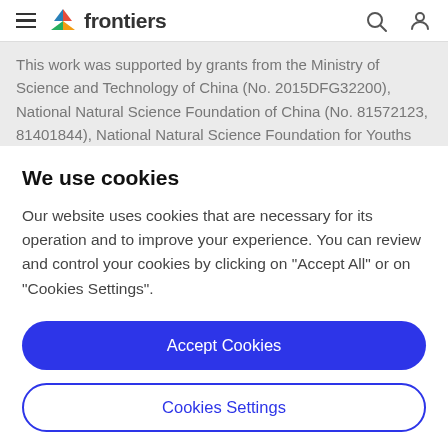frontiers
This work was supported by grants from the Ministry of Science and Technology of China (No. 2015DFG32200), National Natural Science Foundation of China (No. 81572123, 81401844), National Natural Science Foundation for Youths (Grant Nos. 81401852), the Natural
We use cookies
Our website uses cookies that are necessary for its operation and to improve your experience. You can review and control your cookies by clicking on "Accept All" or on "Cookies Settings".
Accept Cookies
Cookies Settings